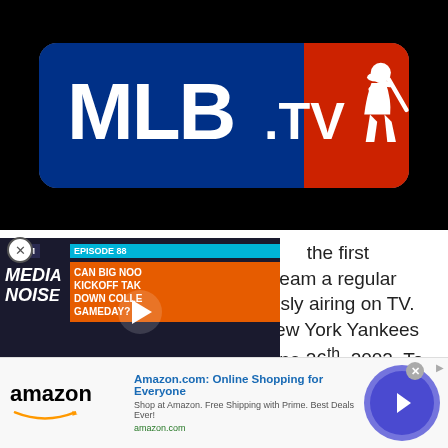[Figure (logo): MLB.TV logo on black background — blue rectangle with white MLB.TV text and MLB batter silhouette in red/white on the right]
Major League Baseball became the first professional sports league to stream a regular season game while simultaneously airing on TV. Los Angeles Dodgers and New York Yankees played against each other on June 26th, 2002. To celebrate the historical occasion, Major League Baseball has
[Figure (screenshot): BSM Media Noise podcast episode overlay — Episode 88: Can Big Noon Kickoff take down College Gameday? — with College Gameday and Fox Big Noon logos at bottom]
[Figure (screenshot): Amazon.com advertisement banner — Online Shopping for Everyone — Shop at Amazon. Free Shipping with Prime. Best Deals Ever! — amazon.com]